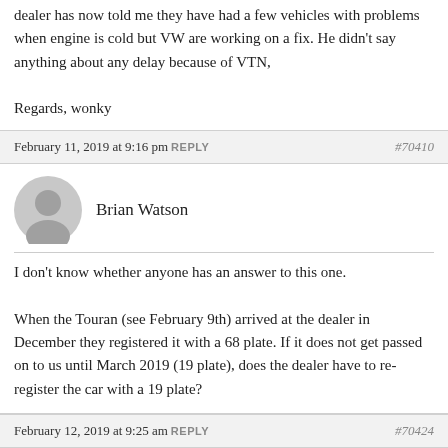dealer has now told me they have had a few vehicles with problems when engine is cold but VW are working on a fix.  He didn't say anything about any delay because of VTN,

Regards, wonky
February 11, 2019 at 9:16 pm REPLY #70410
Brian Watson
I don't know whether anyone has an answer to this one.

When the Touran (see February 9th) arrived at the dealer in December they registered it with a 68 plate.  If it does not get passed on to us until March 2019 (19 plate), does the dealer have to re-register the car with a 19 plate?
February 12, 2019 at 9:25 am REPLY #70424
Philip